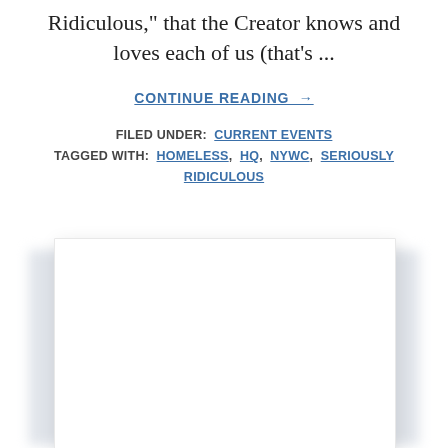Ridiculous," that the Creator knows and loves each of us (that's ...
CONTINUE READING →
FILED UNDER: CURRENT EVENTS
TAGGED WITH: HOMELESS, HQ, NYWC, SERIOUSLY RIDICULOUS
[Figure (photo): A white rectangular card or image placeholder with a light gray drop shadow on a white background.]